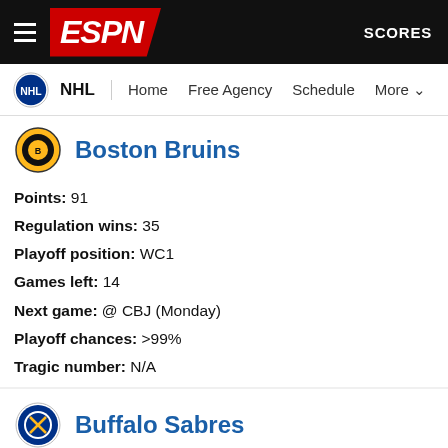ESPN — NHL | Home | Free Agency | Schedule | More | SCORES
Boston Bruins
Points: 91
Regulation wins: 35
Playoff position: WC1
Games left: 14
Next game: @ CBJ (Monday)
Playoff chances: >99%
Tragic number: N/A
Buffalo Sabres
Points: 61
Regulation wins: 19
Playoff position: N/A